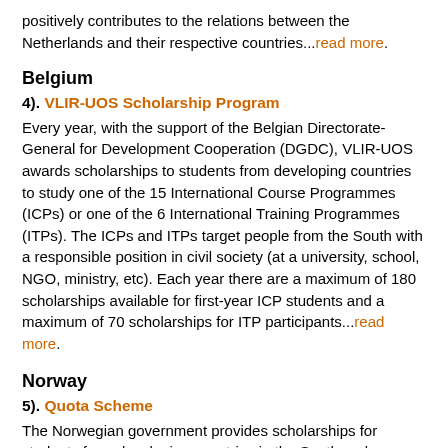positively contributes to the relations between the Netherlands and their respective countries...read more.
Belgium
4). VLIR-UOS Scholarship Program
Every year, with the support of the Belgian Directorate-General for Development Cooperation (DGDC), VLIR-UOS awards scholarships to students from developing countries to study one of the 15 International Course Programmes (ICPs) or one of the 6 International Training Programmes (ITPs). The ICPs and ITPs target people from the South with a responsible position in civil society (at a university, school, NGO, ministry, etc). Each year there are a maximum of 180 scholarships available for first-year ICP students and a maximum of 70 scholarships for ITP participants...read more.
Norway
5). Quota Scheme
The Norwegian government provides scholarships for students from developing countries in the South and countries of Central and East Europe and Central Asia...